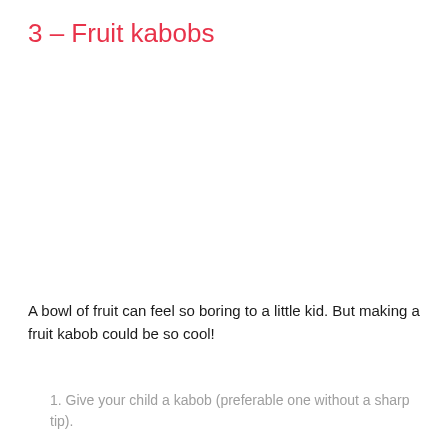3 – Fruit kabobs
A bowl of fruit can feel so boring to a little kid. But making a fruit kabob could be so cool!
1. Give your child a kabob (preferable one without a sharp tip).